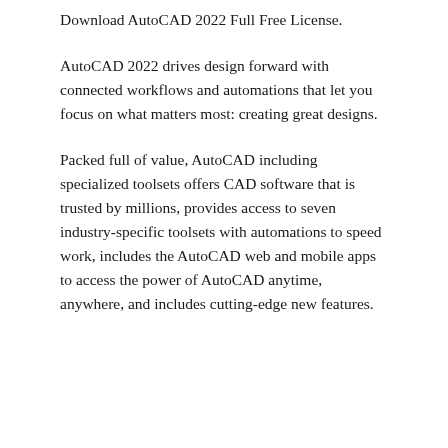Download AutoCAD 2022 Full Free License.
AutoCAD 2022 drives design forward with connected workflows and automations that let you focus on what matters most: creating great designs.
Packed full of value, AutoCAD including specialized toolsets offers CAD software that is trusted by millions, provides access to seven industry-specific toolsets with automations to speed work, includes the AutoCAD web and mobile apps to access the power of AutoCAD anytime, anywhere, and includes cutting-edge new features.